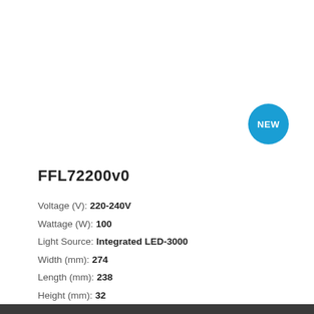[Figure (logo): Blue circular badge with white text reading NEW]
FFL72200v0
Voltage (V): 220-240V
Wattage (W): 100
Light Source: Integrated LED-3000
Width (mm): 274
Length (mm): 238
Height (mm): 32
Beam Angle (°): 110